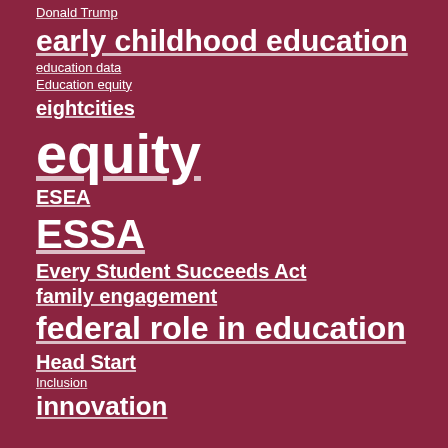Donald Trump
early childhood education
education data
Education equity
eightcities
equity
ESEA
ESSA
Every Student Succeeds Act
family engagement
federal role in education
Head Start
Inclusion
innovation